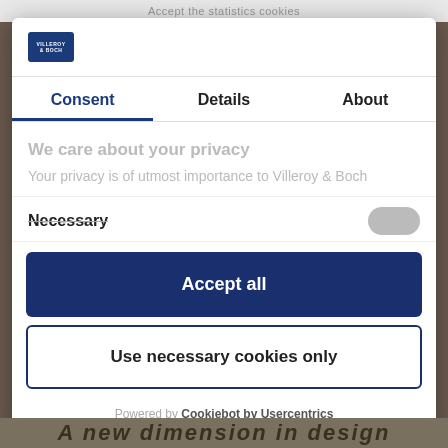Accept the statistics cookies
[Figure (logo): Villeroy & Boch logo - blue rectangle with company name]
Consent | Details | About
We care about your privacy
Your privacy is of utmost importance to Villeroy & Boch
Necessary
Accept all
Use necessary cookies only
Powered by Cookiebot by Usercentrics